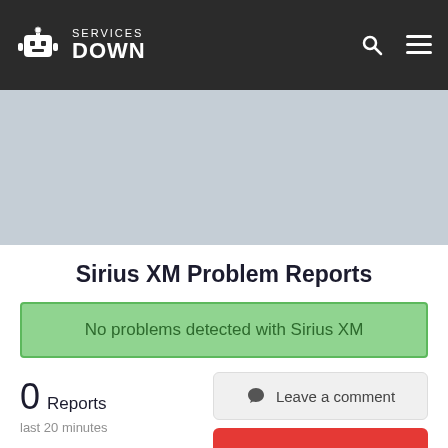SERVICES DOWN
[Figure (illustration): Light blue-grey banner/advertisement placeholder area]
Sirius XM Problem Reports
No problems detected with Sirius XM
0 Reports
last 20 minutes
Leave a comment